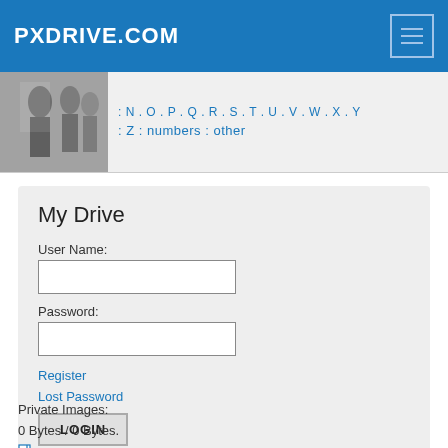PXDRIVE.COM
[Figure (photo): Black and white photo of people walking, used as navigation strip thumbnail with alphabet navigation links: N. O. P. Q. R. S. T. U. V. W. X. Y : Z : numbers : other]
N. O. P. Q. R. S. T. U. V. W. X. Y : Z : numbers : other
My Drive
User Name:
Password:
Register
Lost Password
LOGIN
Private Images:
0 Bytes / 0 Bytes.
Private photo space usage